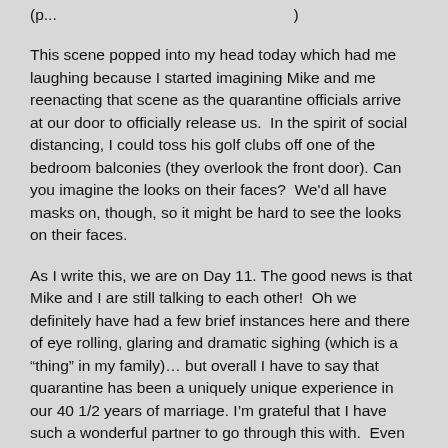(partial top line — continuation of previous paragraph)
This scene popped into my head today which had me laughing because I started imagining Mike and me reenacting that scene as the quarantine officials arrive at our door to officially release us.  In the spirit of social distancing, I could toss his golf clubs off one of the bedroom balconies (they overlook the front door). Can you imagine the looks on their faces?  We'd all have masks on, though, so it might be hard to see the looks on their faces.
As I write this, we are on Day 11. The good news is that Mike and I are still talking to each other!  Oh we definitely have had a few brief instances here and there of eye rolling, glaring and dramatic sighing (which is a “thing” in my family)… but overall I have to say that quarantine has been a uniquely unique experience in our 40 1/2 years of marriage. I’m grateful that I have such a wonderful partner to go through this with.  Even my family will gleefully confirm (…er…shout it from the rooftops) he’s truly the better half in this marriage.
Pretty much since we arrived, we have been trying to get our exercise by going up and down our stairs.  Mike has been quite a bit more enthusiastic than I have, but I’ve been doing it too.